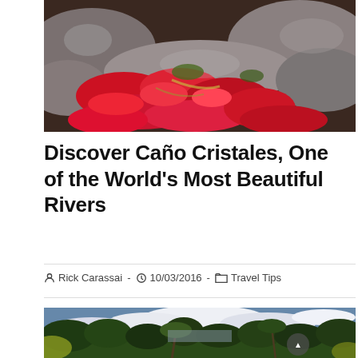[Figure (photo): Aerial/ground-level photo of Caño Cristales river showing vivid red aquatic plants among rocks, with green mossy banks and flowing water]
Discover Caño Cristales, One of the World's Most Beautiful Rivers
Rick Carassai  -  10/03/2016  -  Travel Tips
[Figure (photo): Wide landscape photo of Caño Cristales surrounded by dense tropical jungle with palm trees and cloudy sky]